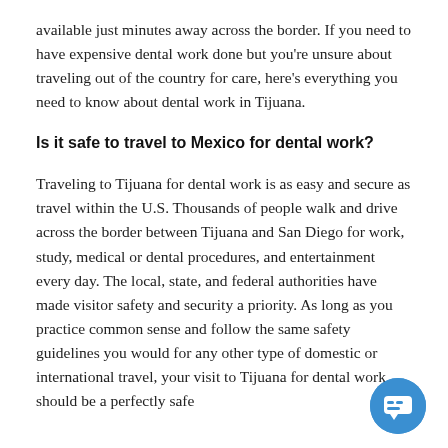available just minutes away across the border. If you need to have expensive dental work done but you're unsure about traveling out of the country for care, here's everything you need to know about dental work in Tijuana.
Is it safe to travel to Mexico for dental work?
Traveling to Tijuana for dental work is as easy and secure as travel within the U.S. Thousands of people walk and drive across the border between Tijuana and San Diego for work, study, medical or dental procedures, and entertainment every day. The local, state, and federal authorities have made visitor safety and security a priority. As long as you practice common sense and follow the same safety guidelines you would for any other type of domestic or international travel, your visit to Tijuana for dental work should be a perfectly safe